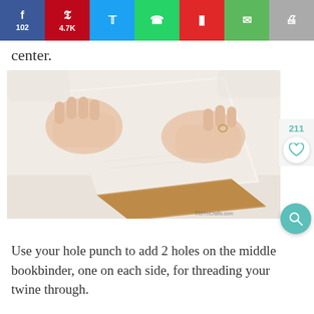Social share bar: f 102, p 4.7K, Twitter, WhatsApp, Flipboard, Email, Print
center.
[Figure (photo): Hands holding an open book/bookbinder with layered pages and a brown cardboard spine visible at bottom, on a white surface. Watermark: ©DIYnCrafts.com]
Use your hole punch to add 2 holes on the middle bookbinder, one on each side, for threading your twine through.